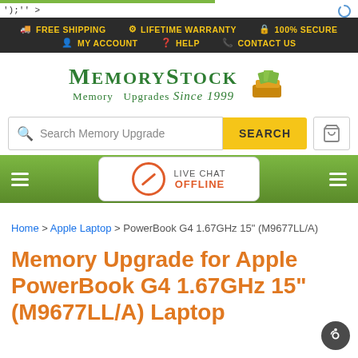');" >
FREE SHIPPING   LIFETIME WARRANTY   100% SECURE   MY ACCOUNT   HELP   CONTACT US
[Figure (logo): MemoryStock logo with text 'Memory Upgrades Since 1999' and shopping cart graphic]
Search Memory Upgrade
[Figure (infographic): Green navigation bar with hamburger menus and Live Chat OFFLINE popup]
Home > Apple Laptop > PowerBook G4 1.67GHz 15" (M9677LL/A)
Memory Upgrade for Apple PowerBook G4 1.67GHz 15" (M9677LL/A) Laptop